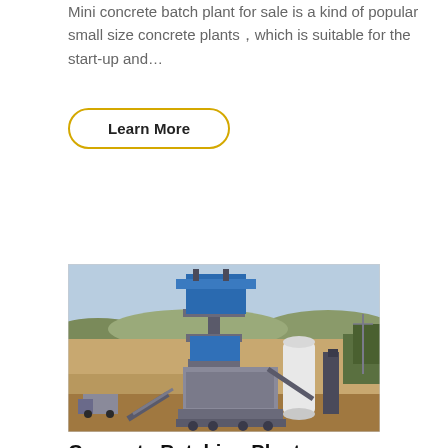Mini concrete batch plant for sale is a kind of popular small size concrete plants， which is suitable for the start-up and…
Learn More
[Figure (photo): Aerial/elevated view of a large industrial concrete or asphalt batching plant with blue hopper/tower structure, conveyor belts, silos, and surrounding arid landscape with hills in the background.]
Concrete Batching Plant Manufacturers - Concrete Plant for